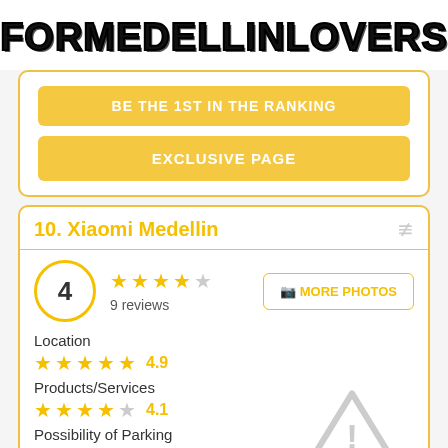FORMEDELLINLOVERS
BE THE 1ST IN THE RANKING
EXCLUSIVE PAGE
10. Xiaomi Medellin
4 — 9 reviews — MORE PHOTOS
Location 4.9
Products/Services 4.1
Possibility of Parking 4.1